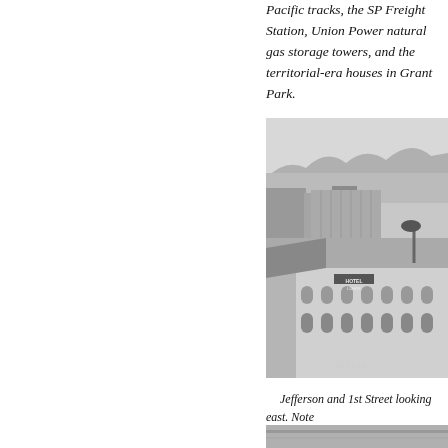Pacific tracks, the SP Freight Station, Union Power natural gas storage towers, and the territorial-era houses in Grant Park.
[Figure (photo): Historic black and white aerial photograph looking east from Jefferson and 1st Street, showing downtown buildings including Hotel Luhrs, rooftops, and mountains in the background.]
Jefferson and 1st Street looking east. Note Fox Theater.
[Figure (photo): Bottom edge of a second historical photograph, partially visible.]